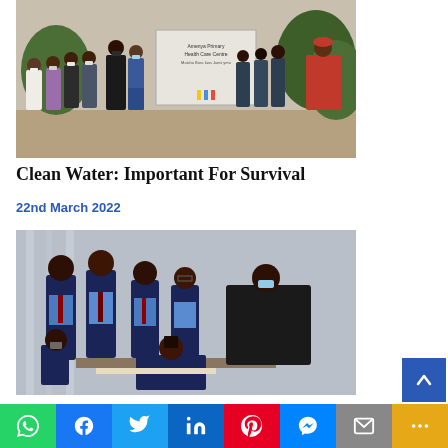[Figure (photo): Group of people wearing face masks standing in front of a health care centre sign, outdoors in a dusty area. Several women in casual clothes stand in the foreground; men in formal attire stand to the right; an older woman in traditional African print dress stands far right.]
Clean Water: Important For Survival
22nd March 2022
[Figure (photo): Group of school girls in navy blue uniforms and blue shirts with ties gathered around a table, looking down at something. An adult in a black t-shirt leans over to assist them. One person wears a light blue face mask.]